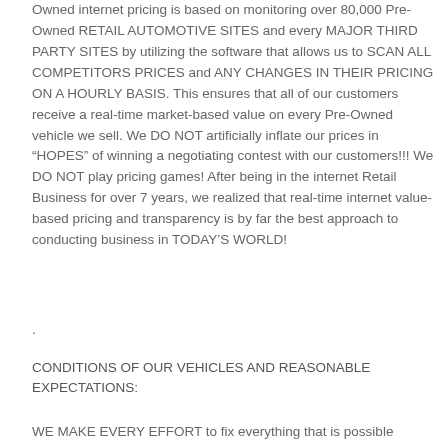Owned internet pricing is based on monitoring over 80,000 Pre-Owned RETAIL AUTOMOTIVE SITES and every MAJOR THIRD PARTY SITES by utilizing the software that allows us to SCAN ALL COMPETITORS PRICES and ANY CHANGES IN THEIR PRICING ON A HOURLY BASIS. This ensures that all of our customers receive a real-time market-based value on every Pre-Owned vehicle we sell. We DO NOT artificially inflate our prices in “HOPES” of winning a negotiating contest with our customers!!! We DO NOT play pricing games! After being in the internet Retail Business for over 7 years, we realized that real-time internet value-based pricing and transparency is by far the best approach to conducting business in TODAY’S WORLD!
.
CONDITIONS OF OUR VEHICLES AND REASONABLE EXPECTATIONS:
WE MAKE EVERY EFFORT to fix everything that is possible...